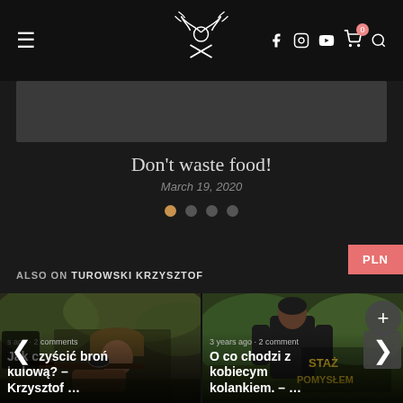Turowski Krzysztof website header with logo, social icons (Facebook, Instagram, YouTube), cart, and search
[Figure (screenshot): Dark banner/slider area]
Don't waste food!
March 19, 2020
[Figure (other): Slider pagination dots — first dot active (orange), three inactive (grey)]
PLN
ALSO ON TUROWSKI KRZYSZTOF
[Figure (photo): Man in hunting hat aiming a rifle through scope — article thumbnail for 'Jak czyścić broń kulową? – Krzysztof ...']
s ago · 2 comments
Jak czyścić broń kulową? – Krzysztof …
[Figure (photo): Man in black leather jacket standing outdoors — article thumbnail for 'O co chodzi z kobiecym kolankiem. – ...']
3 years ago · 2 comment
O co chodzi z kobiecym kolankiem. – …